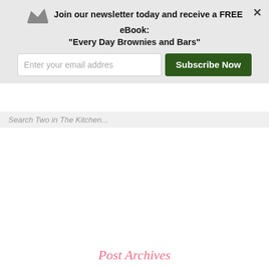Join our newsletter today and receive a FREE eBook: "Every Day Brownies and Bars"
Enter your email addres
Subscribe Now
Search Two in The Kitchen...
Post Archives